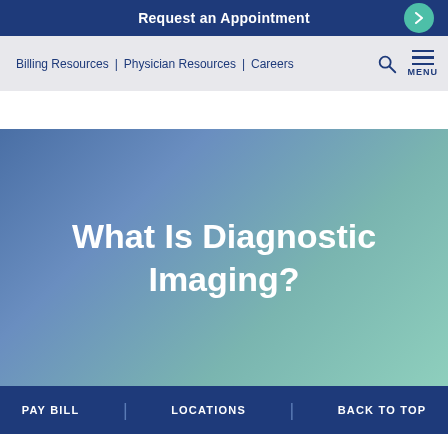Request an Appointment
Billing Resources | Physician Resources | Careers
What Is Diagnostic Imaging?
PAY BILL | LOCATIONS | BACK TO TOP